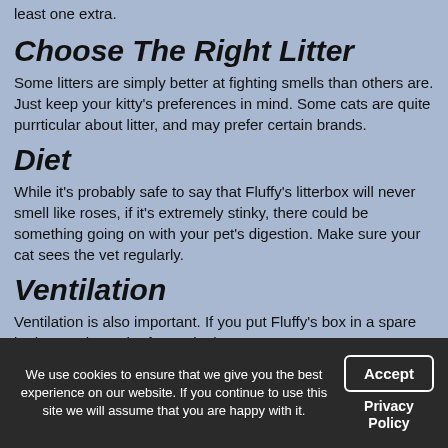least one extra.
Choose The Right Litter
Some litters are simply better at fighting smells than others are. Just keep your kitty's preferences in mind. Some cats are quite purrticular about litter, and may prefer certain brands.
Diet
While it's probably safe to say that Fluffy's litterbox will never smell like roses, if it's extremely stinky, there could be something going on with your pet's digestion. Make sure your cat sees the vet regularly.
Ventilation
Ventilation is also important. If you put Fluffy's box in a spare bathroom, keep the fan on in that room.
As your Michigan City, IN vet clinic, we provide excellent veterinary care. Please contact us anytime!
We use cookies to ensure that we give you the best experience on our website. If you continue to use this site we will assume that you are happy with it.